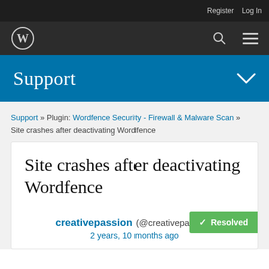Register  Log In
[Figure (logo): WordPress logo (W in circle) on dark navigation bar with search and menu icons]
Support
Support » Plugin: Wordfence Security - Firewall & Malware Scan » Site crashes after deactivating Wordfence
Site crashes after deactivating Wordfence
✓ Resolved
creativepassion (@creativepassion)
2 years, 10 months ago